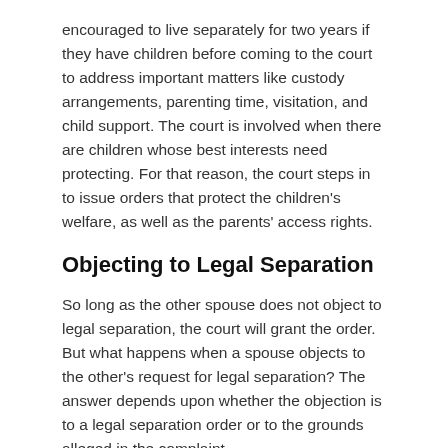encouraged to live separately for two years if they have children before coming to the court to address important matters like custody arrangements, parenting time, visitation, and child support. The court is involved when there are children whose best interests need protecting. For that reason, the court steps in to issue orders that protect the children's welfare, as well as the parents' access rights.
Objecting to Legal Separation
So long as the other spouse does not object to legal separation, the court will grant the order. But what happens when a spouse objects to the other's request for legal separation? The answer depends upon whether the objection is to a legal separation order or to the grounds alleged in the complaint.
The other party may freely object to the grounds alleged. A person may also contest claims that will be...